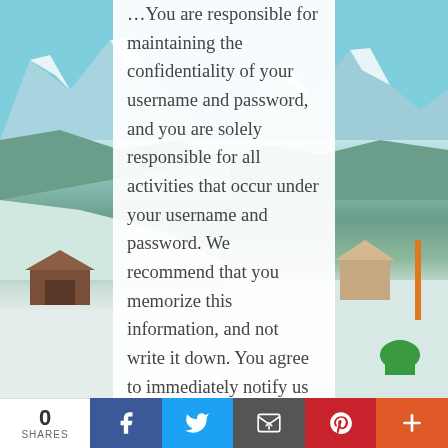[Figure (photo): Snowy mountain landscape with alpine scenery visible on left and right sides behind a white text panel]
You are responsible for maintaining the confidentiality of your username and password, and you are solely responsible for all activities that occur under your username and password. We recommend that you memorize this information, and not write it down. You agree to immediately notify us of any unauthorized use of your username and password or any other
0 SHARES | Facebook | Twitter | Email | Pinterest | More